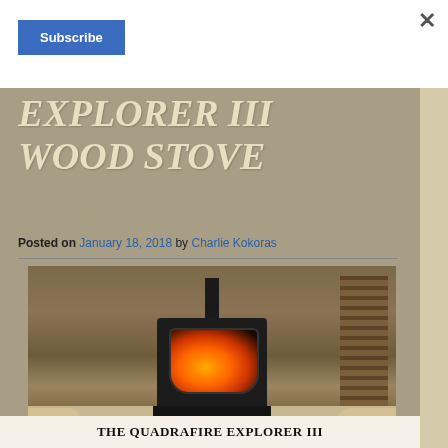Subscribe
EXPLORER III WOOD STOVE
Posted on January 18, 2018 by Charlie Kokoras
[Figure (photo): A Quadrafire Explorer III wood stove sitting on a hearth pad in front of a stone wall, with firewood stacked to the right and two cream-colored sofas flanking the stove.]
THE QUADRAFIRE EXPLORER III